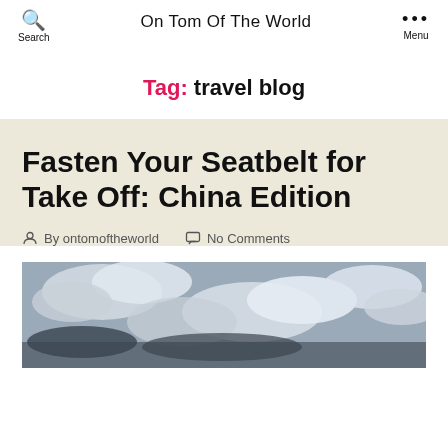On Tom Of The World
Tag: travel blog
Fasten Your Seatbelt for Take Off: China Edition
By ontomoftheworld   No Comments
[Figure (photo): Black and white photograph of clouds and sky, partially visible, cropped at bottom of page]